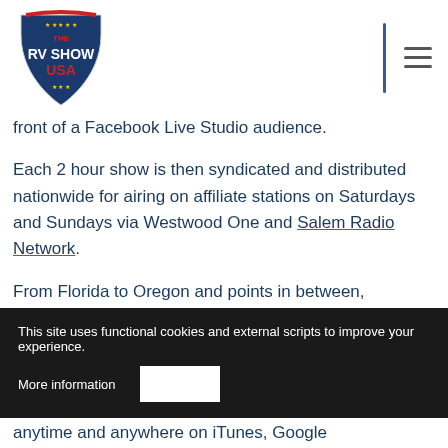The RV Show USA
front of a Facebook Live Studio audience.
Each 2 hour show is then syndicated and distributed nationwide for airing on affiliate stations on Saturdays and Sundays via Westwood One and Salem Radio Network.
From Florida to Oregon and points in between, Listeners can join other passionate RVers on terrestrial Radio Stations on Saturdays and Sundays and on iHeart Radio worldwide.
This site uses functional cookies and external scripts to improve your experience.
More information
anytime and anywhere on iTunes, Google